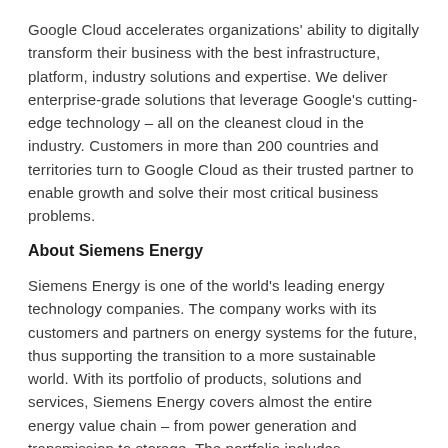Google Cloud accelerates organizations' ability to digitally transform their business with the best infrastructure, platform, industry solutions and expertise. We deliver enterprise-grade solutions that leverage Google's cutting-edge technology – all on the cleanest cloud in the industry. Customers in more than 200 countries and territories turn to Google Cloud as their trusted partner to enable growth and solve their most critical business problems.
About Siemens Energy
Siemens Energy is one of the world's leading energy technology companies. The company works with its customers and partners on energy systems for the future, thus supporting the transition to a more sustainable world. With its portfolio of products, solutions and services, Siemens Energy covers almost the entire energy value chain – from power generation and transmission to storage. The portfolio includes conventional and renewable energy technology, such as gas and steam turbines, hybrid power plants operated with hydrogen, and power generators